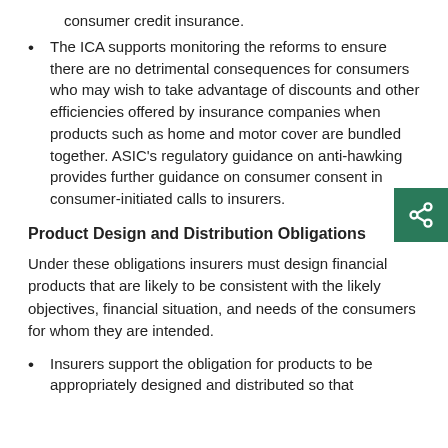consumer credit insurance.
The ICA supports monitoring the reforms to ensure there are no detrimental consequences for consumers who may wish to take advantage of discounts and other efficiencies offered by insurance companies when products such as home and motor cover are bundled together. ASIC's regulatory guidance on anti-hawking provides further guidance on consumer consent in consumer-initiated calls to insurers.
Product Design and Distribution Obligations
Under these obligations insurers must design financial products that are likely to be consistent with the likely objectives, financial situation, and needs of the consumers for whom they are intended.
Insurers support the obligation for products to be appropriately designed and distributed so that